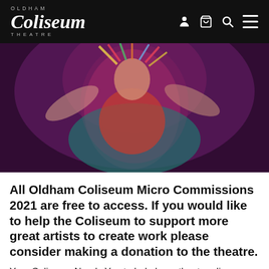OLDHAM Coliseum THEATRE
[Figure (photo): A performer in colourful theatrical costume with decorative headdress, arms raised, on a stage lit with purple and red lighting.]
All Oldham Coliseum Micro Commissions 2021 are free to access. If you would like to help the Coliseum to support more great artists to create work please consider making a donation to the theatre.
Your Coliseum Needs You to help keep theatre alive